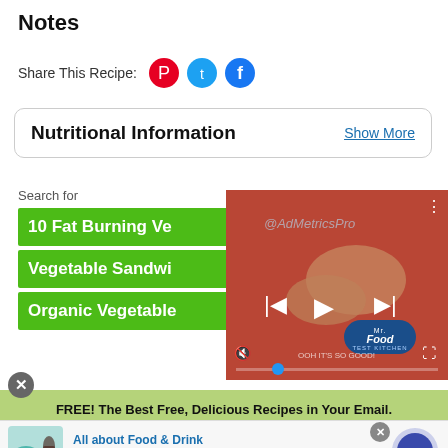Notes
Share This Recipe:
Nutritional Information
Show More
Search for
10 Fat Burning Ve
Vegetable Sandwi
Organic Vegetable
[Figure (screenshot): Video player showing cooking hands with Mr. Food Test Kitchen logo and playback controls]
FREE! The Best Free, Delicious Recipes in Your Email.
[Figure (infographic): Ad banner: All about Food & Drink, visit citybowling.co.il/ to learn more, www.citybowling.co.il]